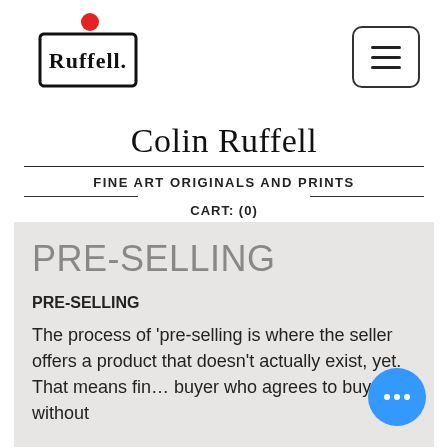[Figure (logo): Ruffell logo: handwritten text 'Ruffell.' in a sketched rectangle, with a red dot above]
Colin Ruffell
FINE ART ORIGINALS AND PRINTS
CART: (0)
PRE-SELLING
PRE-SELLING
The process of 'pre-selling is where the seller offers a product that doesn't actually exist, yet. That means fin… buyer who agrees to buy without